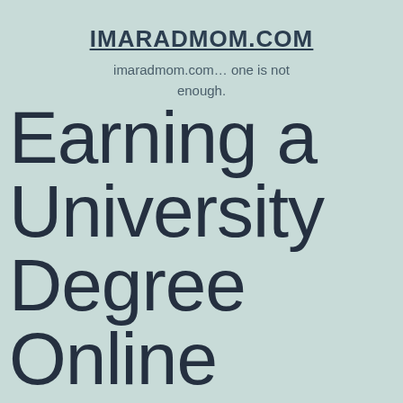IMARADMOM.COM
imaradmom.com… one is not enough.
Earning a University Degree Online